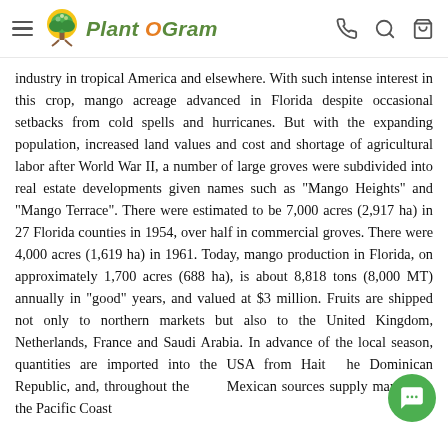Plant O Gram
industry in tropical America and elsewhere. With such intense interest in this crop, mango acreage advanced in Florida despite occasional setbacks from cold spells and hurricanes. But with the expanding population, increased land values and cost and shortage of agricultural labor after World War II, a number of large groves were subdivided into real estate developments given names such as "Mango Heights" and "Mango Terrace". There were estimated to be 7,000 acres (2,917 ha) in 27 Florida counties in 1954, over half in commercial groves. There were 4,000 acres (1,619 ha) in 1961. Today, mango production in Florida, on approximately 1,700 acres (688 ha), is about 8,818 tons (8,000 MT) annually in "good" years, and valued at $3 million. Fruits are shipped not only to northern markets but also to the United Kingdom, Netherlands, France and Saudi Arabia. In advance of the local season, quantities are imported into the USA from Haiti, the Dominican Republic, and, throughout the year, Mexican sources supply mangos to the Pacific Coast